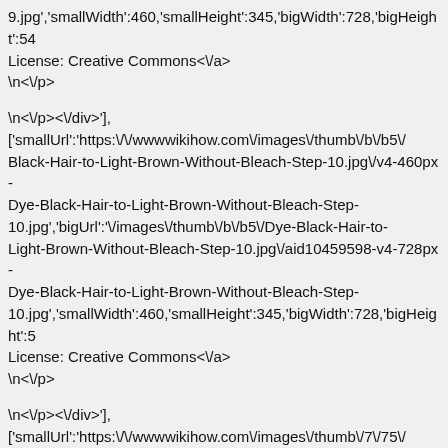9.jpg','smallWidth':460,'smallHeight':345,'bigWidth':728,'bigHeight':54
License: Creative Commons<\/a>
\n<\/p>
\n<\/p><\/div>'],
['smallUrl':'https:\/\/wwwwikihow.com\/images\/thumb\/b\/b5\/Black-Hair-to-Light-Brown-Without-Bleach-Step-10.jpg\/v4-460px-Dye-Black-Hair-to-Light-Brown-Without-Bleach-Step-10.jpg','bigUrl':'\/images\/thumb\/b\/b5\/Dye-Black-Hair-to-Light-Brown-Without-Bleach-Step-10.jpg\/aid10459598-v4-728px-Dye-Black-Hair-to-Light-Brown-Without-Bleach-Step-10.jpg','smallWidth':460,'smallHeight':345,'bigWidth':728,'bigHeight':5
License: Creative Commons<\/a>
\n<\/p>
\n<\/p><\/div>'],
['smallUrl':'https:\/\/wwwwikihow.com\/images\/thumb\/7\/75\/